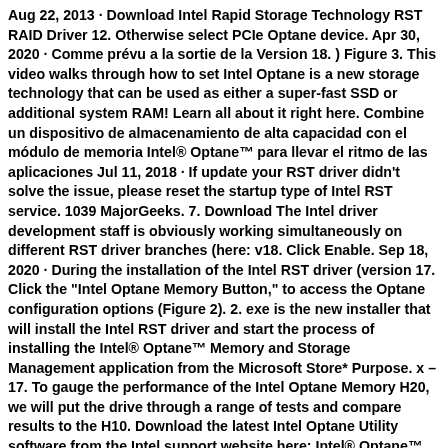Aug 22, 2013 · Download Intel Rapid Storage Technology RST RAID Driver 12. Otherwise select PCIe Optane device. Apr 30, 2020 · Comme prévu a la sortie de la Version 18. ) Figure 3. This video walks through how to set Intel Optane is a new storage technology that can be used as either a super-fast SSD or additional system RAM! Learn all about it right here. Combine un dispositivo de almacenamiento de alta capacidad con el módulo de memoria Intel® Optane™ para llevar el ritmo de las aplicaciones Jul 11, 2018 · If update your RST driver didn't solve the issue, please reset the startup type of Intel RST service. 1039 MajorGeeks. 7. Download The Intel driver development staff is obviously working simultaneously on different RST driver branches (here: v18. Click Enable. Sep 18, 2020 · During the installation of the Intel RST driver (version 17. Click the "Intel Optane Memory Button," to access the Optane configuration options (Figure 2). 2. exe is the new installer that will install the Intel RST driver and start the process of installing the Intel® Optane™ Memory and Storage Management application from the Microsoft Store* Purpose. x – 17. To gauge the performance of the Intel Optane Memory H20, we will put the drive through a range of tests and compare results to the H10. Download the latest Intel Optane Utility software from the Intel support website here: Intel® Optane™ Memory User Interface and Driver for System Acceleration for Intel® 7th/8th Gen Platforms Feb 21, 2021 ·